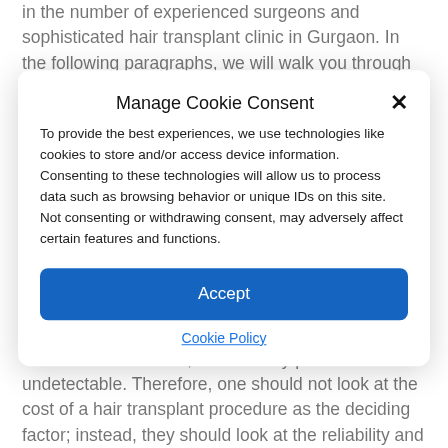in the number of experienced surgeons and sophisticated hair transplant clinic in Gurgaon. In the following paragraphs, we will walk you through some of the top hair transplant surgeons and clinics in Gurgaon.
Manage Cookie Consent
To provide the best experiences, we use technologies like cookies to store and/or access device information. Consenting to these technologies will allow us to process data such as browsing behavior or unique IDs on this site. Not consenting or withdrawing consent, may adversely affect certain features and functions.
Accept
Cookie Policy
Additionally, the aesthetic results produced by these clinics are not natural, nor are they permanent and undetectable. Therefore, one should not look at the cost of a hair transplant procedure as the deciding factor; instead, they should look at the reliability and